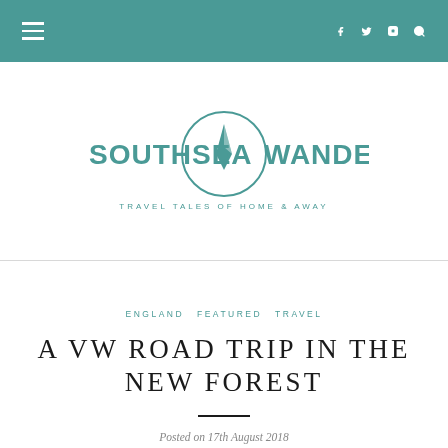Navigation bar with hamburger menu and social icons (Facebook, Twitter, Instagram, Search)
[Figure (logo): Southsea Wanderer logo: compass rose inside a circle, with the text SOUTHSEA WANDERER in teal and tagline TRAVEL TALES OF HOME & AWAY]
TRAVEL TALES OF HOME & AWAY
ENGLAND  FEATURED  TRAVEL
A VW ROAD TRIP IN THE NEW FOREST
Posted on 17th August 2018